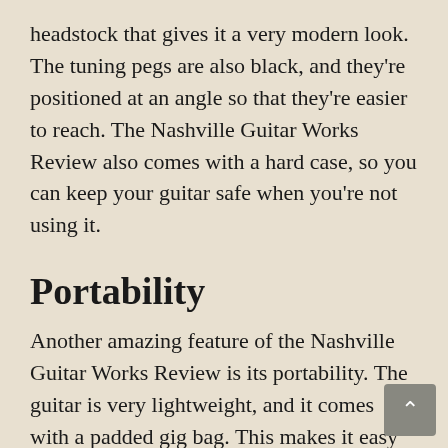headstock that gives it a very modern look. The tuning pegs are also black, and they're positioned at an angle so that they're easier to reach. The Nashville Guitar Works Review also comes with a hard case, so you can keep your guitar safe when you're not using it.
Portability
Another amazing feature of the Nashville Guitar Works Review is its portability. The guitar is very lightweight, and it comes with a padded gig bag. This makes it easy to carry around with you, and you can take it with you wherever you go. It's also easy to pack up and take with you on a plane or in the car.